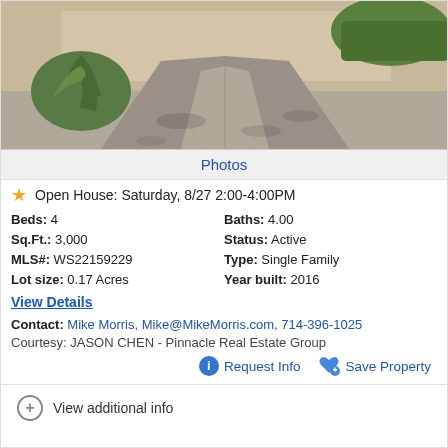[Figure (photo): Exterior photo of a house showing a concrete driveway with desert landscaping including agave plants on the left side]
Photos
Open House: Saturday, 8/27 2:00-4:00PM
Beds: 4  Baths: 4.00  Sq.Ft.: 3,000  Status: Active  MLS#: WS22159229  Type: Single Family  Lot size: 0.17 Acres  Year built: 2016
View Details
Contact: Mike Morris, Mike@MikeMorris.com, 714-396-1025
Courtesy: JASON CHEN - Pinnacle Real Estate Group
Request Info  Save Property
View additional info